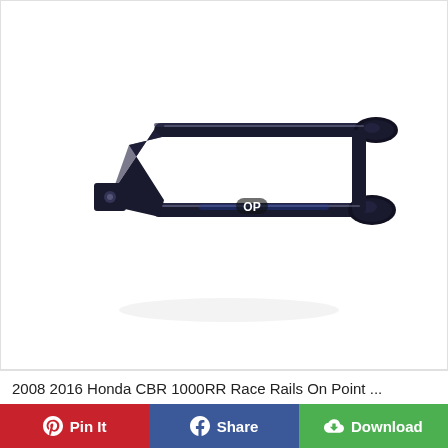[Figure (photo): Black metal motorcycle race rail/crash bar component for 2008-2016 Honda CBR 1000RR, branded with 'OP' logo. The part is a U-shaped tubular steel frame with mounting bracket on the left and rubber-tipped ends on the right side.]
2008 2016 Honda CBR 1000RR Race Rails On Point ...
Pin It  Share  Download